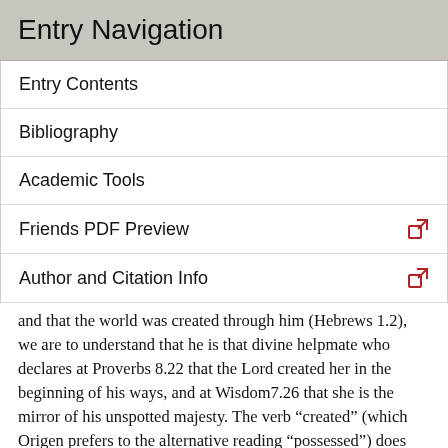Entry Navigation
Entry Contents
Bibliography
Academic Tools
Friends PDF Preview
Author and Citation Info
and that the world was created through him (Hebrews 1.2), we are to understand that he is that divine helpmate who declares at Proverbs 8.22 that the Lord created her in the beginning of his ways, and at Wisdom7.26 that she is the mirror of his unspotted majesty. The verb “created” (which Origen prefers to the alternative reading “possessed”) does not imply that the Son has a temporal beginning, but that, having no other substrate than the Father’s will, he expresses that will more perfectly than the things that are “made” from matter. It is inconceivable that the Father could ever have lacked wisdom, and equally inconceivable to Origen that this wisdom could